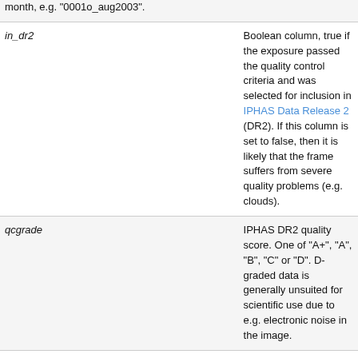| Column | Unit | Description |
| --- | --- | --- |
|  |  | month, e.g. "0001o_aug2003". |
| in_dr2 |  | Boolean column, true if the exposure passed the quality control criteria and was selected for inclusion in IPHAS Data Release 2 (DR2). If this column is set to false, then it is likely that the frame suffers from severe quality problems (e.g. clouds). |
| qcgrade |  | IPHAS DR2 quality score. One of "A+", "A", "B", "C" or "D". D-graded data is generally unsuited for scientific use due to e.g. electronic noise in the image. |
| qcproblems |  | Brief description of the issues encountered during quality control. |
| exptime | seconds | Exposure time adopted in DR2. |
| seeing | arcsec | Average Full Width at Half Maximum of point sources in the CCD frame. |
| elliptic |  | Average ellipticity of point sources in the frame, defined as e = (1 - b/a) with b |